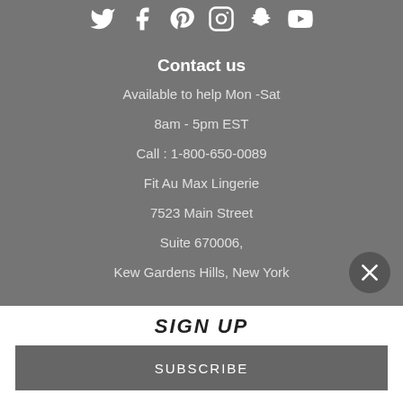[Figure (other): Social media icons row: Twitter, Facebook, Pinterest, Instagram, Snapchat, YouTube]
Contact us
Available to help Mon -Sat
8am - 5pm EST
Call : 1-800-650-0089
Fit Au Max Lingerie
7523 Main Street
Suite 670006,
Kew Gardens Hills, New York
SIGN UP
SUBSCRIBE